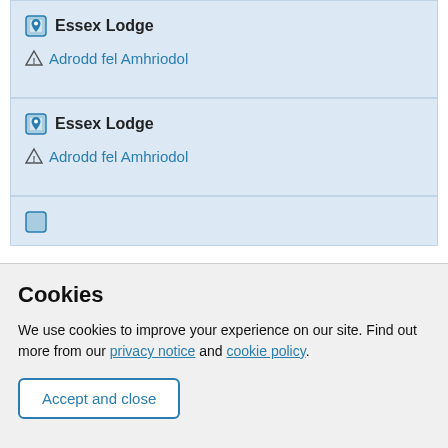Essex Lodge
Adrodd fel Amhriodol
Essex Lodge
Adrodd fel Amhriodol
Cookies
We use cookies to improve your experience on our site. Find out more from our privacy notice and cookie policy.
Accept and close